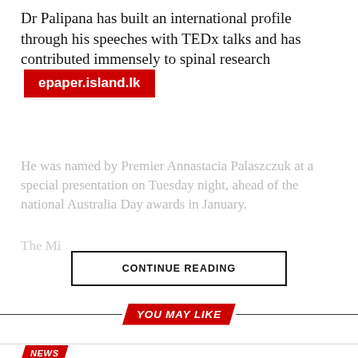Dr Palipana has built an international profile through his speeches with TEDx talks and has contributed immensely to spinal research [epaper.island.lk]
He was named by Premier Annastacia Palaszczuk at a special presentation on Tuesday night, ahead of the national Australia Day awards in January.
CONTINUE READING
YOU MAY LIKE
CLICK TO COMMENT
NEWS
Enhanced protection for LGBTQ+